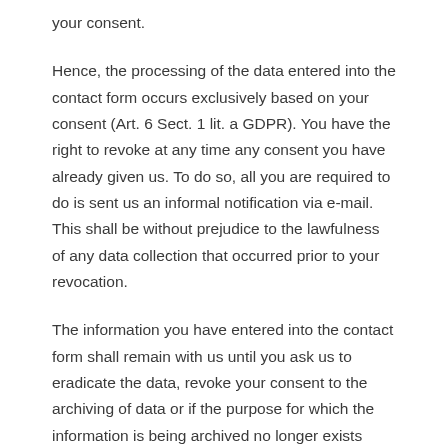your consent.
Hence, the processing of the data entered into the contact form occurs exclusively based on your consent (Art. 6 Sect. 1 lit. a GDPR). You have the right to revoke at any time any consent you have already given us. To do so, all you are required to do is sent us an informal notification via e-mail. This shall be without prejudice to the lawfulness of any data collection that occurred prior to your revocation.
The information you have entered into the contact form shall remain with us until you ask us to eradicate the data, revoke your consent to the archiving of data or if the purpose for which the information is being archived no longer exists (e.g. after we have concluded our response to your inquiry). This shall be without prejudice to any mandatory legal provisions – in particular retention periods.